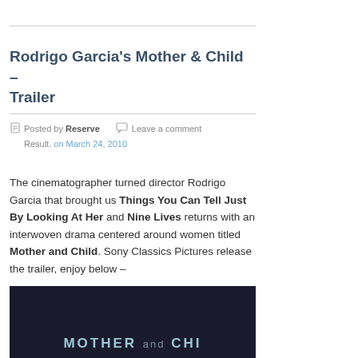Rodrigo Garcia's Mother & Child – Trailer
Posted by Reserve   Leave a comment
Result. on March 24, 2010
The cinematographer turned director Rodrigo Garcia that brought us Things You Can Tell Just By Looking At Her and Nine Lives returns with an interwoven drama centered around women titled Mother and Child. Sony Classics Pictures release the trailer, enjoy below –
[Figure (photo): Movie still/title card for 'Mother and Child' showing dark background with the text 'MOTHER and CHILD' in teal/blue letters]